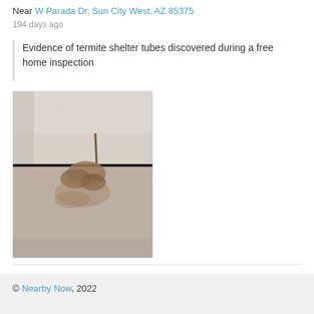Near W Parada Dr, Sun City West, AZ 85375
194 days ago
Evidence of termite shelter tubes discovered during a free home inspection
[Figure (photo): Close-up photo of a concrete surface with a crack running horizontally. A termite shelter tube is visible along the crack, with brownish mud-like material near the base of a wall.]
© Nearby Now, 2022